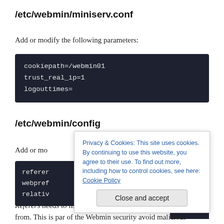/etc/webmin/miniserv.conf
Add or modify the following parameters:
[Figure (other): Code block with dark background showing: cookiepath=/webmin01, trust_real_ip=1, logouttimes=]
/etc/webmin/config
Add or mo
[Figure (other): Code block with dark background showing: referer, webpref, relativ (partially visible)]
Privacy & Cookies: This site uses cookies. By continuing to use this website, you agree to their use. To find out more, including how to control cookies, see here: Cookie Policy
Close and accept
Referers needs to list the URL from where the request comes from. This is par of the Webmin security avoid malicious redirects from untrusted